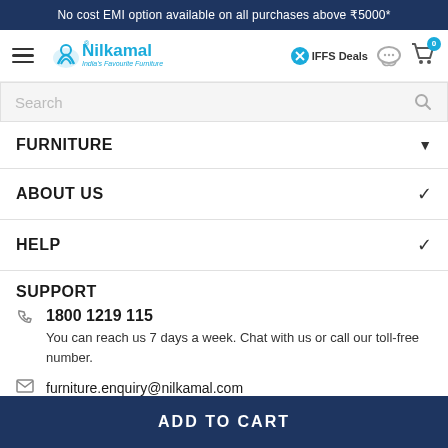No cost EMI option available on all purchases above ₹5000*
[Figure (logo): Nilkamal logo with tagline India's Favourite Furniture, hamburger menu, IFFS Deals button, chat icon, and cart icon with badge 0]
Search
FURNITURE
ABOUT US
HELP
SUPPORT
1800 1219 115
You can reach us 7 days a week. Chat with us or call our toll-free number.
furniture.enquiry@nilkamal.com
ADD TO CART